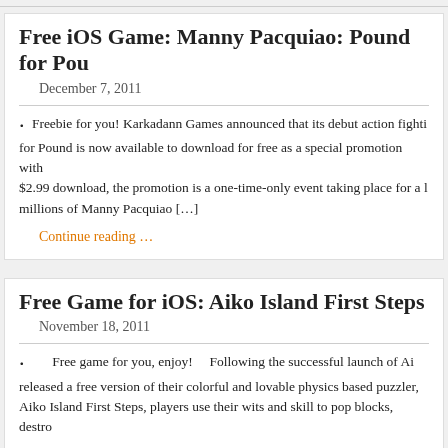Free iOS Game: Manny Pacquiao: Pound for Pou...
December 7, 2011
Freebie for you! Karkadann Games announced that its debut action fighting game Pound for Pound is now available to download for free as a special promotion with... $2.99 download, the promotion is a one-time-only event taking place for a limited time for millions of Manny Pacquiao [...]
Continue reading ...
Free Game for iOS: Aiko Island First Steps
November 18, 2011
Free game for you, enjoy! Following the successful launch of Ai... released a free version of their colorful and lovable physics based puzzler, ... Aiko Island First Steps, players use their wits and skill to pop blocks, destro...
Continue reading ...
Sonic & SEGA All Stars Racing Now Availabl...